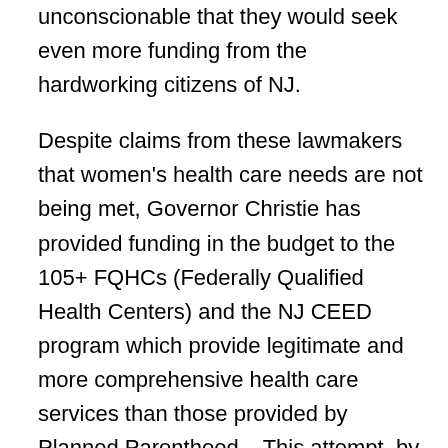unconscionable that they would seek even more funding from the hardworking citizens of NJ.
Despite claims from these lawmakers that women's health care needs are not being met, Governor Christie has provided funding in the budget to the 105+ FQHCs (Federally Qualified Health Centers) and the NJ CEED program which provide legitimate and more comprehensive health care services than those provided by Planned Parenthood.   This attempt  by pro-abortion lawmakers to use poor women as pawns is despicable and is nothing more than a ploy to shore up their